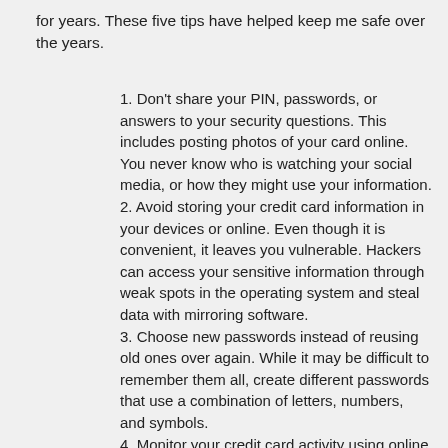for years. These five tips have helped keep me safe over the years.
1. Don't share your PIN, passwords, or answers to your security questions. This includes posting photos of your card online. You never know who is watching your social media, or how they might use your information.
2. Avoid storing your credit card information in your devices or online. Even though it is convenient, it leaves you vulnerable. Hackers can access your sensitive information through weak spots in the operating system and steal data with mirroring software.
3. Choose new passwords instead of reusing old ones over again. While it may be difficult to remember them all, create different passwords that use a combination of letters, numbers, and symbols.
4. Monitor your credit card activity using online